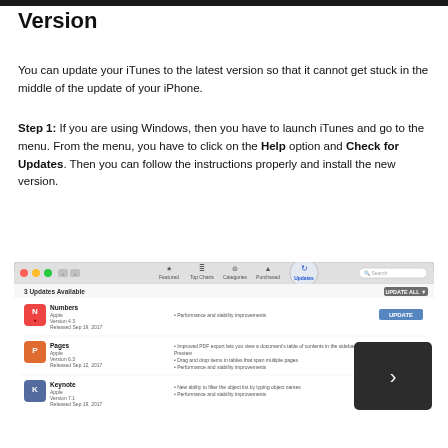Version
You can update your iTunes to the latest version so that it cannot get stuck in the middle of the update of your iPhone.
Step 1: If you are using Windows, then you have to launch iTunes and go to the menu. From the menu, you have to click on the Help option and Check for Updates. Then you can follow the instructions properly and install the new version.
[Figure (screenshot): iTunes App Store Updates screen showing 3 Updates Available with Numbers, Pages, and Keynote apps listed, each with an UPDATE button. An overlay dark box with an arrow icon appears on the right side.]